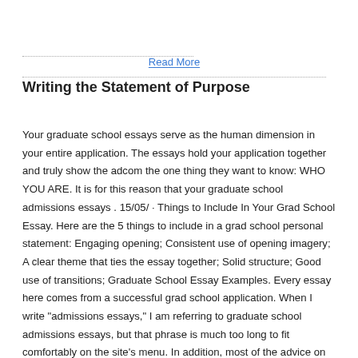Read More
Writing the Statement of Purpose
Your graduate school essays serve as the human dimension in your entire application. The essays hold your application together and truly show the adcom the one thing they want to know: WHO YOU ARE. It is for this reason that your graduate school admissions essays . 15/05/ · Things to Include In Your Grad School Essay. Here are the 5 things to include in a grad school personal statement: Engaging opening; Consistent use of opening imagery; A clear theme that ties the essay together; Solid structure; Good use of transitions; Graduate School Essay Examples. Every essay here comes from a successful grad school application. When I write "admissions essays," I am referring to graduate school admissions essays, but that phrase is much too long to fit comfortably on the site's menu. In addition, most of the advice on this page leans heavily toward master's degrees (MA/MS) and PhDs in academic disciplines, although